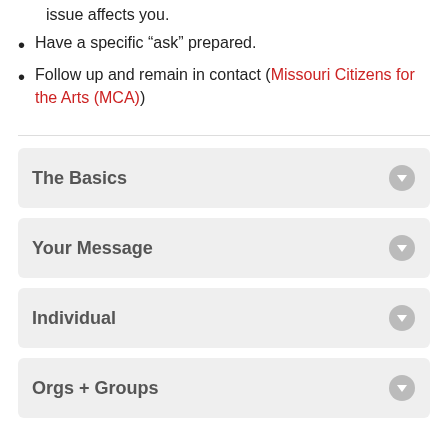issue affects you.
Have a specific “ask” prepared.
Follow up and remain in contact (Missouri Citizens for the Arts (MCA))
The Basics
Your Message
Individual
Orgs + Groups